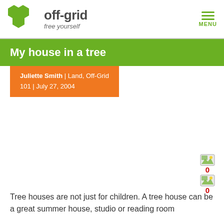off-grid free yourself | MENU
My house in a tree
Juliette Smith | Land, Off-Grid 101 | July 27, 2004
[Figure (illustration): Two small icon images with count 0 each]
Tree houses are not just for children. A tree house can be a great summer house, studio or reading room